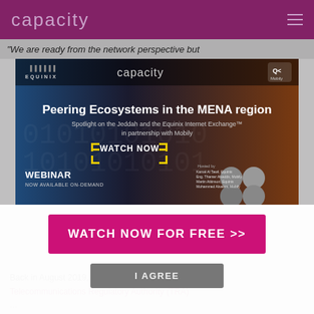capacity
"We are ready from the network perspective but
[Figure (screenshot): Webinar advertisement for 'Peering Ecosystems in the MENA region' featuring Equinix, Capacity, and Mobily logos. Subtitle: 'Spotlight on the Jeddah and the Equinix Internet Exchange in partnership with Mobily'. Includes WATCH NOW button, headshots of four hosts, and text 'WEBINAR NOW AVAILABLE ON-DEMAND'. Hosted by Kamal Al Tawil, Equinix; Eng. Thamer Alsadds, Mobily; Martin Atkinson, Equinix; Mohammed Alsalem, Mobily.]
WATCH NOW FOR FREE >>
I AGREE
Back in August 2019, Oman's regulatory authority, Telecommunications Regulatory Authority (TRA)...